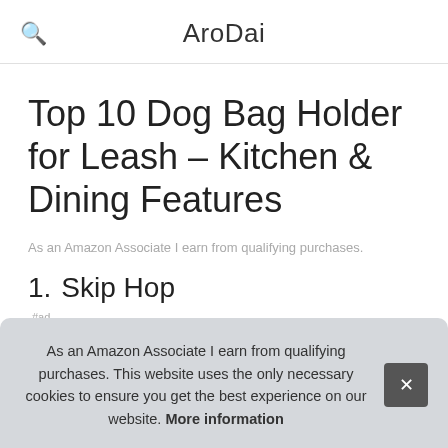AroDai
Top 10 Dog Bag Holder for Leash – Kitchen & Dining Features
As an Amazon Associate I earn from qualifying purchases.
1. Skip Hop
#ad
As an Amazon Associate I earn from qualifying purchases. This website uses the only necessary cookies to ensure you get the best experience on our website. More information